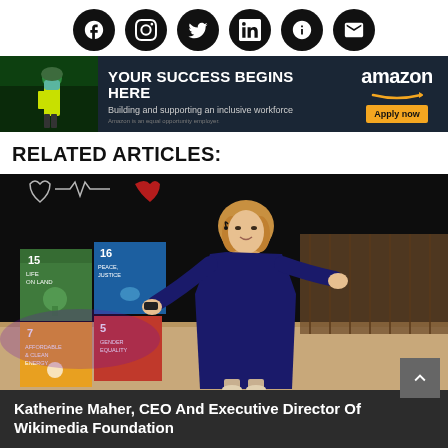[Figure (other): Row of six circular social media icon buttons (Facebook, Instagram, Twitter, LinkedIn, another circular icon, email/envelope) on white background]
[Figure (other): Amazon advertisement banner: dark navy background, photo of masked worker in yellow vest on left, bold white text 'YOUR SUCCESS BEGINS HERE', sub-text 'Building and supporting an inclusive workforce', Amazon logo and 'Apply now' orange button on right]
RELATED ARTICLES:
[Figure (photo): Woman in navy blue dress speaking on stage with a headset microphone, gesturing with hands. Behind her are colorful UN Sustainable Development Goals numbered cubes (15, 16, 5, 7) in green, blue, yellow, red. Stage has wooden backdrop and dim lighting.]
Katherine Maher, CEO And Executive Director Of Wikimedia Foundation